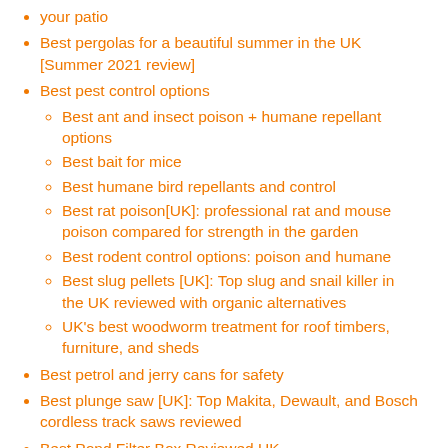your patio
Best pergolas for a beautiful summer in the UK [Summer 2021 review]
Best pest control options
Best ant and insect poison + humane repellant options
Best bait for mice
Best humane bird repellants and control
Best rat poison[UK]: professional rat and mouse poison compared for strength in the garden
Best rodent control options: poison and humane
Best slug pellets [UK]: Top slug and snail killer in the UK reviewed with organic alternatives
UK's best woodworm treatment for roof timbers, furniture, and sheds
Best petrol and jerry cans for safety
Best plunge saw [UK]: Top Makita, Dewault, and Bosch cordless track saws reviewed
Best Pond Filter Box Reviewed UK
Best Pond Vacuum UK: Top manual and hand pump +